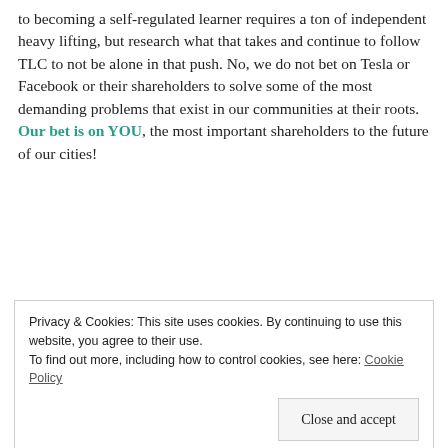to becoming a self-regulated learner requires a ton of independent heavy lifting, but research what that takes and continue to follow TLC to not be alone in that push. No, we do not bet on Tesla or Facebook or their shareholders to solve some of the most demanding problems that exist in our communities at their roots. Our bet is on YOU, the most important shareholders to the future of our cities!
[Figure (infographic): Dark navy blue banner advertisement with text 'a business in 8 steps', a white button labeled 'Start a new store', and a cyan/light blue curved shape on the right side.]
Privacy & Cookies: This site uses cookies. By continuing to use this website, you agree to their use.
To find out more, including how to control cookies, see here: Cookie Policy
[Close and accept button]